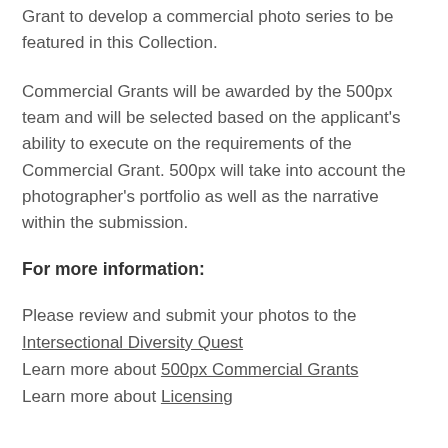Grant to develop a commercial photo series to be featured in this Collection.
Commercial Grants will be awarded by the 500px team and will be selected based on the applicant's ability to execute on the requirements of the Commercial Grant. 500px will take into account the photographer's portfolio as well as the narrative within the submission.
For more information:
Please review and submit your photos to the Intersectional Diversity Quest
Learn more about 500px Commercial Grants
Learn more about Licensing